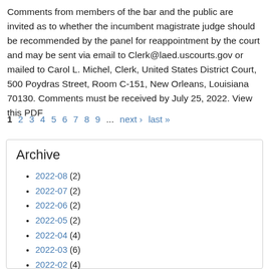Comments from members of the bar and the public are invited as to whether the incumbent magistrate judge should be recommended by the panel for reappointment by the court and may be sent via email to Clerk@laed.uscourts.gov or mailed to Carol L. Michel, Clerk, United States District Court, 500 Poydras Street, Room C-151, New Orleans, Louisiana 70130. Comments must be received by July 25, 2022. View this PDF
1 2 3 4 5 6 7 8 9 ... next › last »
Archive
2022-08 (2)
2022-07 (2)
2022-06 (2)
2022-05 (2)
2022-04 (4)
2022-03 (6)
2022-02 (4)